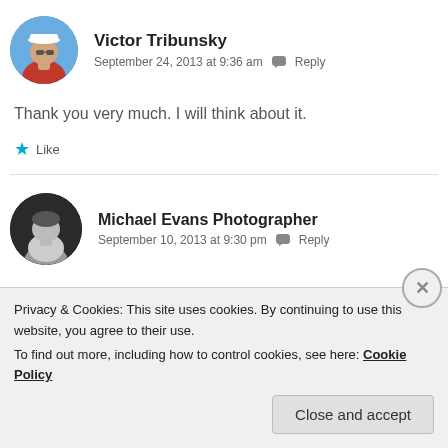[Figure (photo): Circular avatar of Victor Tribunsky, a man wearing a white captain's hat and red shirt, outdoors with blue sky]
Victor Tribunsky
September 24, 2013 at 9:36 am  Reply
Thank you very much. I will think about it.
Like
[Figure (photo): Circular avatar of Michael Evans Photographer, a man in a white shirt, black and white photo]
Michael Evans Photographer
September 10, 2013 at 9:30 pm  Reply
Privacy & Cookies: This site uses cookies. By continuing to use this website, you agree to their use.
To find out more, including how to control cookies, see here: Cookie Policy
Close and accept